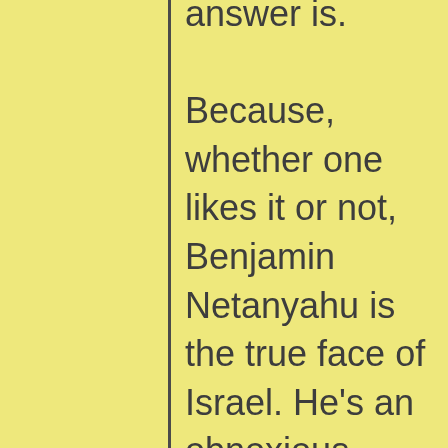answer is. Because, whether one likes it or not, Benjamin Netanyahu is the true face of Israel. He's an obnoxious, loudmouth, racist, Jewish supremacist. And